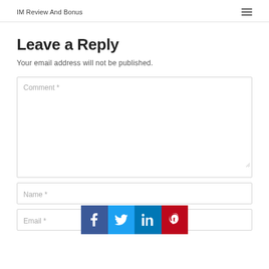IM Review And Bonus
Leave a Reply
Your email address will not be published.
Comment *
Name *
Email *
[Figure (infographic): Social sharing bar with Facebook, Twitter, LinkedIn, and Pinterest icons]